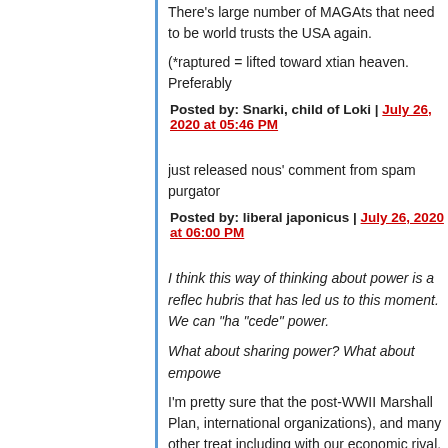There's large number of MAGAts that need to be world trusts the USA again.
(*raptured = lifted toward xtian heaven. Preferably
Posted by: Snarki, child of Loki | July 26, 2020 at 05:46 PM
just released nous' comment from spam purgator
Posted by: liberal japonicus | July 26, 2020 at 06:00 PM
I think this way of thinking about power is a reflec hubris that has led us to this moment. We can "ha "cede" power.
What about sharing power? What about empowe
I'm pretty sure that the post-WWII Marshall Plan, international organizations), and many other treat including with our economic rival, China, were abe mention our willingness to welcome international the great benefit of our universities - but still "pow you think this concept is original with "Germany a